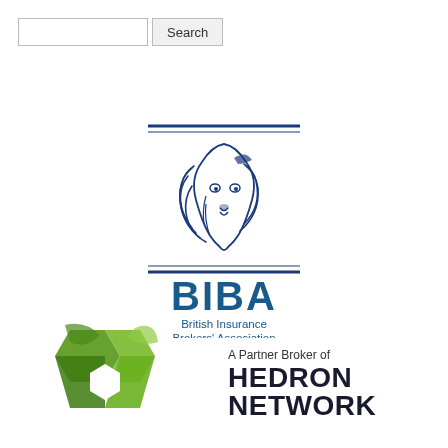[Figure (screenshot): Search input box and Search button in top left corner]
[Figure (logo): BIBA - British Insurance Brokers' Association logo with lion head illustration in dark blue, flanked by horizontal lines above and below the lion, with BIBA text and full name beneath]
[Figure (logo): Hedron Network logo: green hexagonal shape on the left, with text 'A Partner Broker of HEDRON NETWORK' on the right in dark navy/black]